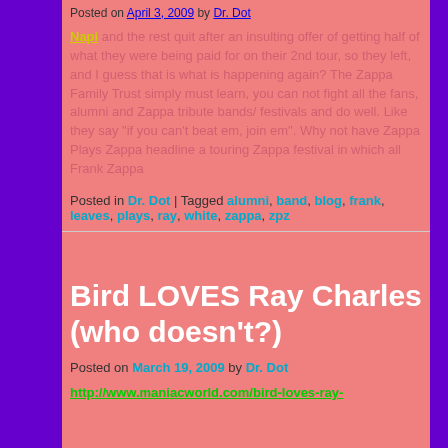Posted on April 3, 2009 by Dr. Dot
Napi and the rest quit after an insulting offer of getting half of what they were being paid for on their 2nd tour, so they left, and I guess that is what is happening again? The Zappa Family Trust simply must learn, you can not fight all the fans, alumni and Zappa tribute bands/ festivals and do well. Like they say "if you can't beat em, join em". Why not have Zappa Plays Zappa headline a touring Zappa festival in which all Frank Zappa
Posted in Dr. Dot | Tagged alumni, band, blog, frank, leaves, plays, ray, white, zappa, zpz
Bird LOVES Ray Charles (who doesn't?)
Posted on March 19, 2009 by Dr. Dot
http://www.maniacworld.com/bird-loves-ray-